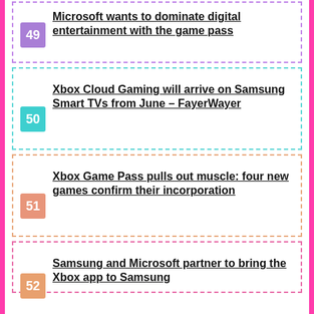49 Microsoft wants to dominate digital entertainment with the game pass
50 Xbox Cloud Gaming will arrive on Samsung Smart TVs from June – FayerWayer
51 Xbox Game Pass pulls out muscle: four new games confirm their incorporation
52 Samsung and Microsoft partner to bring the Xbox app to Samsung